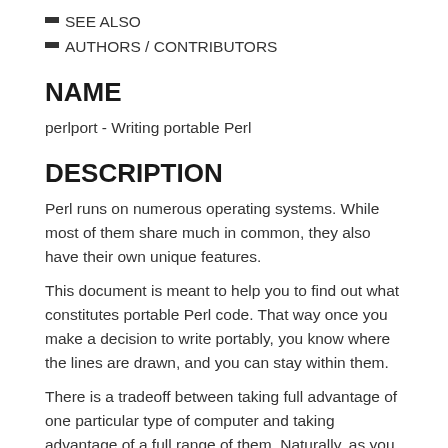SEE ALSO
AUTHORS / CONTRIBUTORS
NAME
perlport - Writing portable Perl
DESCRIPTION
Perl runs on numerous operating systems. While most of them share much in common, they also have their own unique features.
This document is meant to help you to find out what constitutes portable Perl code. That way once you make a decision to write portably, you know where the lines are drawn, and you can stay within them.
There is a tradeoff between taking full advantage of one particular type of computer and taking advantage of a full range of them. Naturally, as you broaden your range and lower your requirements, the more of your code...